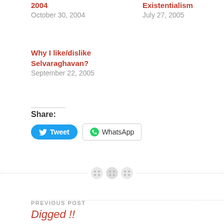2004
October 30, 2004
Existentialism
July 27, 2005
Why I like/dislike Selvaraghavan?
September 22, 2005
Share:
[Figure (other): Tweet and WhatsApp share buttons, and a decorative divider with button icons]
PREVIOUS POST
Digged !!